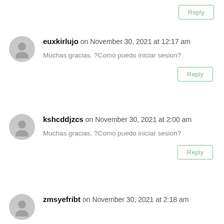Reply
euxkirlujo on November 30, 2021 at 12:17 am
Muchas gracias. ?Como puedo iniciar sesion?
Reply
kshcddjzcs on November 30, 2021 at 2:00 am
Muchas gracias. ?Como puedo iniciar sesion?
Reply
zmsyefribt on November 30, 2021 at 2:18 am